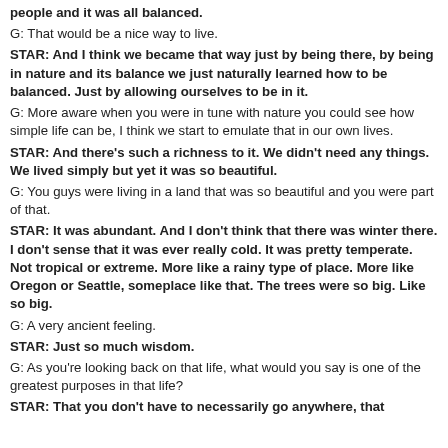people and it was all balanced.
G: That would be a nice way to live.
STAR: And I think we became that way just by being there, by being in nature and its balance we just naturally learned how to be balanced. Just by allowing ourselves to be in it.
G: More aware when you were in tune with nature you could see how simple life can be, I think we start to emulate that in our own lives.
STAR: And there's such a richness to it. We didn't need any things. We lived simply but yet it was so beautiful.
G: You guys were living in a land that was so beautiful and you were part of that.
STAR: It was abundant. And I don't think that there was winter there. I don't sense that it was ever really cold. It was pretty temperate. Not tropical or extreme. More like a rainy type of place. More like Oregon or Seattle, someplace like that. The trees were so big. Like so big.
G: A very ancient feeling.
STAR: Just so much wisdom.
G: As you're looking back on that life, what would you say is one of the greatest purposes in that life?
STAR: That you don't have to necessarily go anywhere, that